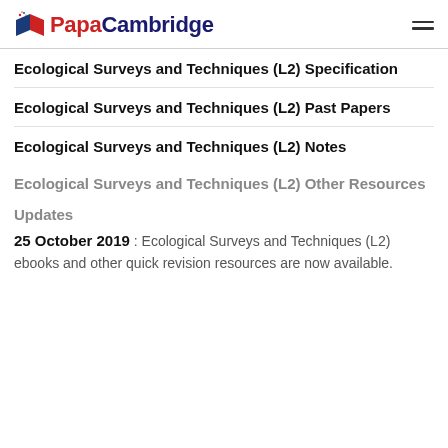PapaCambridge
Ecological Surveys and Techniques (L2) Specification
Ecological Surveys and Techniques (L2) Past Papers
Ecological Surveys and Techniques (L2) Notes
Ecological Surveys and Techniques (L2) Other Resources
Updates
25 October 2019 : Ecological Surveys and Techniques (L2) ebooks and other quick revision resources are now available.